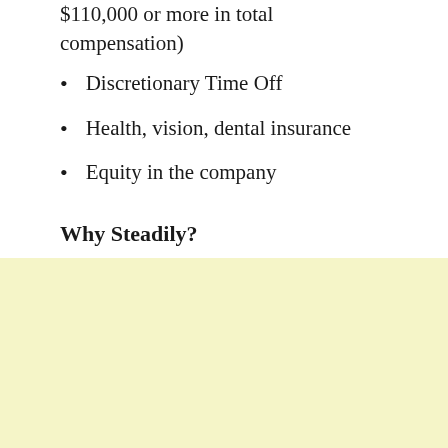$110,000 or more in total compensation)
Discretionary Time Off
Health, vision, dental insurance
Equity in the company
Why Steadily?
Advertisement
[Figure (other): Light yellow advertisement placeholder box]